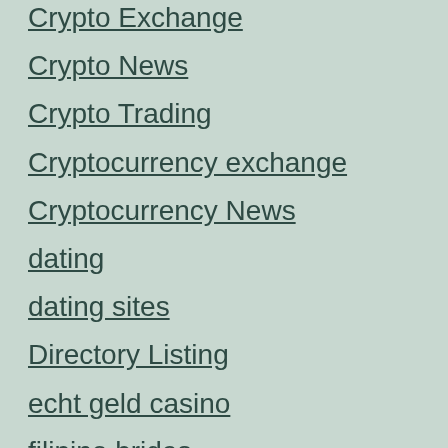Crypto Exchange
Crypto News
Crypto Trading
Cryptocurrency exchange
Cryptocurrency News
dating
dating sites
Directory Listing
echt geld casino
filipino brides
FinTech
food
Forex